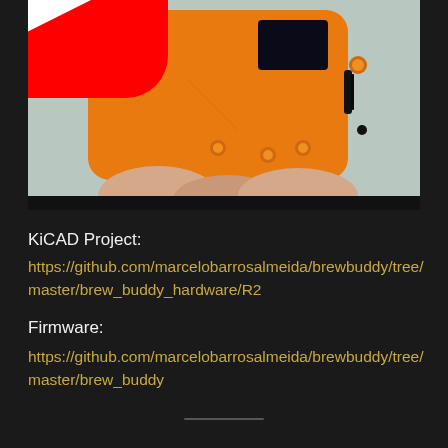[Figure (photo): Video thumbnail showing a hand holding an orange 3D-printed electronics enclosure (brew buddy device) with a small screen and buttons, with a YouTube play button overlay. Below is a black bar.]
KiCAD Project:
https://github.com/marcelobarrosalmeida/brewbuddy/tree/master/brew_buddy_hardware/R2
Firmware:
https://github.com/marcelobarrosalmeida/brewbuddy/tree/master/brew_buddy